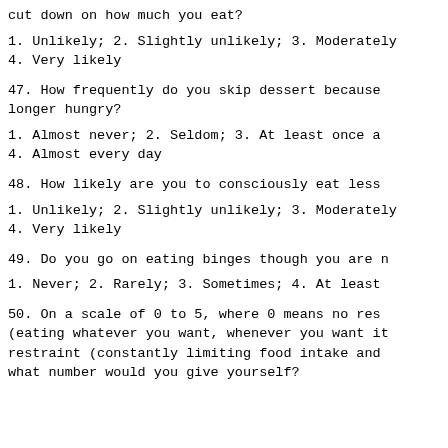cut down on how much you eat?
1. Unlikely; 2. Slightly unlikely; 3. Moderately likely; 4. Very likely
47. How frequently do you skip dessert because you are no longer hungry?
1. Almost never; 2. Seldom; 3. At least once a week; 4. Almost every day
48. How likely are you to consciously eat less
1. Unlikely; 2. Slightly unlikely; 3. Moderately likely; 4. Very likely
49. Do you go on eating binges though you are not hungry?
1. Never; 2. Rarely; 3. Sometimes; 4. At least
50. On a scale of 0 to 5, where 0 means no restraint (eating whatever you want, whenever you want it) and 5 means total restraint (constantly limiting food intake and never giving in), what number would you give yourself?